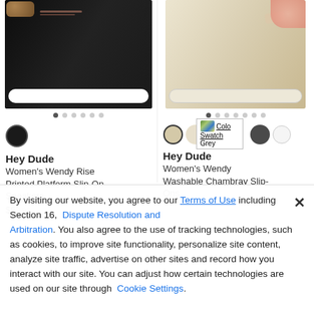[Figure (photo): Black Hey Dude Women's Wendy Rise Printed Platform Slip-On Sneaker with white sole and leopard print accent]
[Figure (photo): Beige/cream Hey Dude Women's Wendy Washable Chambray Slip-On shoe with textured sole]
Hey Dude
Women's Wendy Rise Printed Platform Slip-On Sneakers
$59.99
Hey Dude
Women's Wendy Washable Chambray Slip-Ons
By visiting our website, you agree to our Terms of Use including Section 16, Dispute Resolution and Arbitration. You also agree to the use of tracking technologies, such as cookies, to improve site functionality, personalize site content, analyze site traffic, advertise on other sites and record how you interact with our site. You can adjust how certain technologies are used on our site through Cookie Settings.